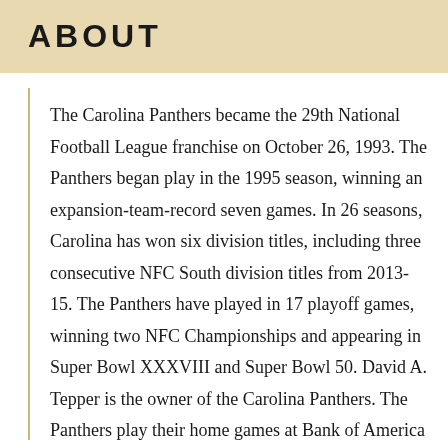ABOUT
The Carolina Panthers became the 29th National Football League franchise on October 26, 1993. The Panthers began play in the 1995 season, winning an expansion-team-record seven games. In 26 seasons, Carolina has won six division titles, including three consecutive NFC South division titles from 2013-15. The Panthers have played in 17 playoff games, winning two NFC Championships and appearing in Super Bowl XXXVIII and Super Bowl 50. David A. Tepper is the owner of the Carolina Panthers. The Panthers play their home games at Bank of America Stadium in Charlotte, N.C., and recently joined in a community partnership with York County and the city of Rock Hill, S.C., to transition the team's headquarters to Rock Hill. The Carolina Panthers